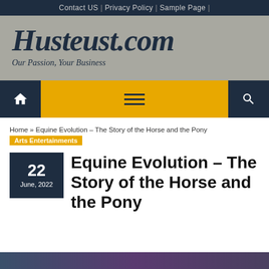Contact US | Privacy Policy | Sample Page |
[Figure (logo): Husteust.com website logo with tagline 'Our Passion, Your Business' on gray background]
[Figure (screenshot): Navigation bar with home icon, hamburger menu, and search icon on gold/yellow background]
Home » Equine Evolution – The Story of the Horse and the Pony
Arts Entertainments
Equine Evolution – The Story of the Horse and the Pony
[Figure (photo): Partial image of horses at bottom of page, cropped]